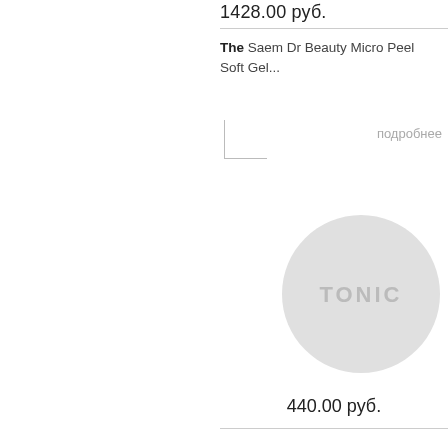1428.00 руб.
The Saem Dr Beauty Micro Peel Soft Gel...
подробнее
[Figure (illustration): Circular grey placeholder badge with 'TONIC' text in white]
440.00 руб.